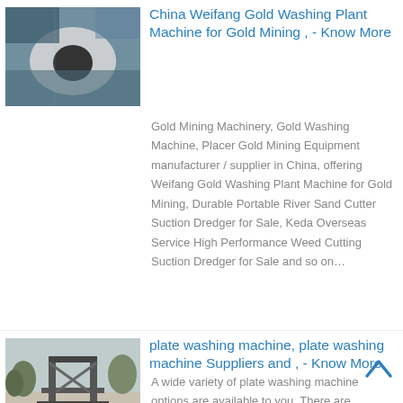[Figure (photo): Photo of gold washing plant machine components, circular parts on blue surface]
China Weifang Gold Washing Plant Machine for Gold Mining , - Know More
Gold Mining Machinery, Gold Washing Machine, Placer Gold Mining Equipment manufacturer / supplier in China, offering Weifang Gold Washing Plant Machine for Gold Mining, Durable Portable River Sand Cutter Suction Dredger for Sale, Keda Overseas Service High Performance Weed Cutting Suction Dredger for Sale and so on…
[Figure (photo): Photo of industrial plate washing machine structure outdoors]
plate washing machine, plate washing machine Suppliers and , - Know More
A wide variety of plate washing machine options are available to you, There are